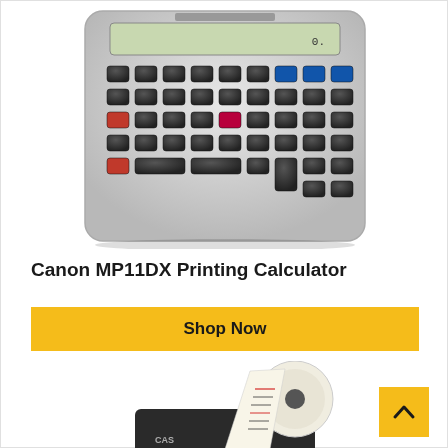[Figure (photo): Canon MP11DX printing calculator with keypad visible, shot from above on white background]
Canon MP11DX Printing Calculator
Shop Now
[Figure (photo): Casio printing calculator with paper roll/receipt tape coming out, partial view from bottom of page]
[Figure (other): Yellow back-to-top button with upward chevron arrow]